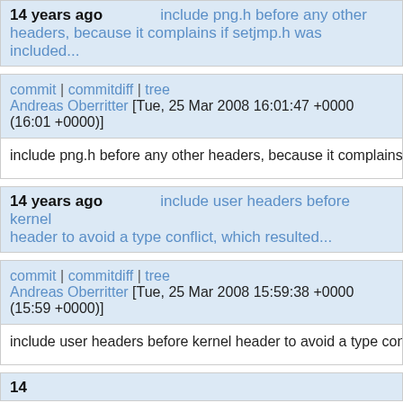14 years ago   include png.h before any other headers, because it complains if setjmp.h was included...
commit | commitdiff | tree
Andreas Oberritter [Tue, 25 Mar 2008 16:01:47 +0000 (16:01 +0000)]
include png.h before any other headers, because it complains
14 years ago   include user headers before kernel header to avoid a type conflict, which resulted...
commit | commitdiff | tree
Andreas Oberritter [Tue, 25 Mar 2008 15:59:38 +0000 (15:59 +0000)]
include user headers before kernel header to avoid a type con